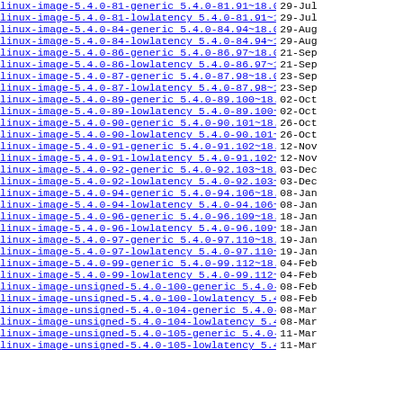linux-image-5.4.0-81-generic 5.4.0-81.91~18.04...> 29-Jul
linux-image-5.4.0-81-lowlatency 5.4.0-81.91~18...> 29-Jul
linux-image-5.4.0-84-generic 5.4.0-84.94~18.04...> 29-Aug
linux-image-5.4.0-84-lowlatency 5.4.0-84.94~18...> 29-Aug
linux-image-5.4.0-86-generic 5.4.0-86.97~18.04...> 21-Sep
linux-image-5.4.0-86-lowlatency 5.4.0-86.97~18...> 21-Sep
linux-image-5.4.0-87-generic 5.4.0-87.98~18.04...> 23-Sep
linux-image-5.4.0-87-lowlatency 5.4.0-87.98~18...> 23-Sep
linux-image-5.4.0-89-generic 5.4.0-89.100~18.04..> 02-Oct
linux-image-5.4.0-89-lowlatency 5.4.0-89.100~18..> 02-Oct
linux-image-5.4.0-90-generic 5.4.0-90.101~18.04..> 26-Oct
linux-image-5.4.0-90-lowlatency 5.4.0-90.101~18..> 26-Oct
linux-image-5.4.0-91-generic 5.4.0-91.102~18.04..> 12-Nov
linux-image-5.4.0-91-lowlatency 5.4.0-91.102~18..> 12-Nov
linux-image-5.4.0-92-generic 5.4.0-92.103~18.04..> 03-Dec
linux-image-5.4.0-92-lowlatency 5.4.0-92.103~18..> 03-Dec
linux-image-5.4.0-94-generic 5.4.0-94.106~18.04..> 08-Jan
linux-image-5.4.0-94-lowlatency 5.4.0-94.106~18..> 08-Jan
linux-image-5.4.0-96-generic 5.4.0-96.109~18.04..> 18-Jan
linux-image-5.4.0-96-lowlatency 5.4.0-96.109~18..> 18-Jan
linux-image-5.4.0-97-generic 5.4.0-97.110~18.04..> 19-Jan
linux-image-5.4.0-97-lowlatency 5.4.0-97.110~18..> 19-Jan
linux-image-5.4.0-99-generic 5.4.0-99.112~18.04..> 04-Feb
linux-image-5.4.0-99-lowlatency 5.4.0-99.112~18..> 04-Feb
linux-image-unsigned-5.4.0-100-generic 5.4.0-10..> 08-Feb
linux-image-unsigned-5.4.0-100-lowlatency 5.4.0...> 08-Feb
linux-image-unsigned-5.4.0-104-generic 5.4.0-10..> 08-Mar
linux-image-unsigned-5.4.0-104-lowlatency 5.4.0...> 08-Mar
linux-image-unsigned-5.4.0-105-generic 5.4.0-10..> 11-Mar
linux-image-unsigned-5.4.0-105-lowlatency 5.4.0...> 11-Mar